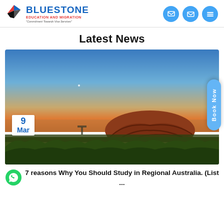[Figure (logo): Bluestone Education and Migration logo with bird/flag icon, blue company name, red subtitle, tagline 'Commitment Towards Visa Services']
Latest News
[Figure (photo): Sunset landscape photo of Uluru (Ayers Rock) in the Australian outback with red rock formation against gradient sky and green scrubland in foreground. Date badge shows '9 Mar'. Book Now button on right side.]
7 reasons Why You Should Study in Regional Australia. (List ...